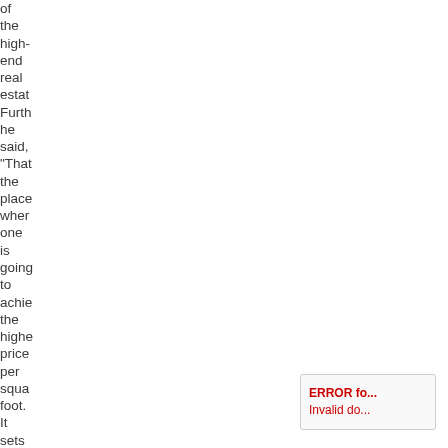of the high-end real estate. Further he said, "That the place where one is going to achieve the highest price per square foot. It sets the
ERROR fo... Invalid do...